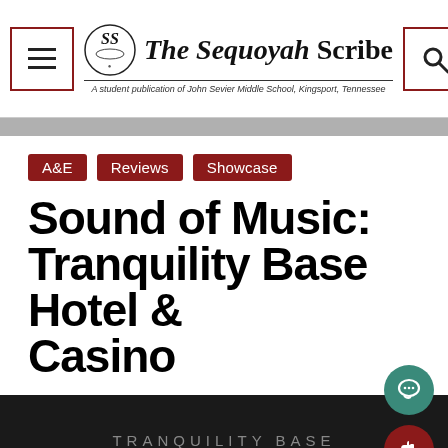The Sequoyah Scribe — A student publication of John Sevier Middle School, Kingsport, Tennessee
A&E | Reviews | Showcase
Sound of Music: Tranquility Base Hotel & Casino
[Figure (photo): Dark album artwork showing text TRANQUILITY BASE HOTEL + CASINO on a black background, with floating action buttons for comments (teal) and likes (dark red)]